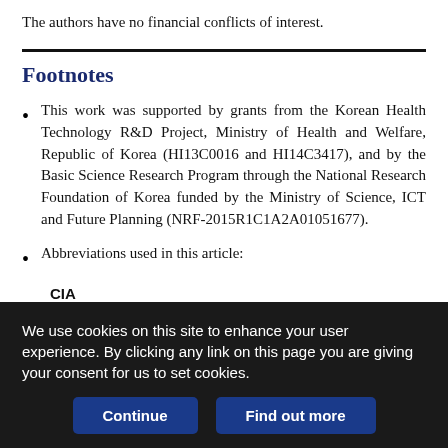The authors have no financial conflicts of interest.
Footnotes
This work was supported by grants from the Korean Health Technology R&D Project, Ministry of Health and Welfare, Republic of Korea (HI13C0016 and HI14C3417), and by the Basic Science Research Program through the National Research Foundation of Korea funded by the Ministry of Science, ICT and Future Planning (NRF-2015R1C1A2A01051677).
Abbreviations used in this article:
CIA
collagen-induced arthritis
We use cookies on this site to enhance your user experience. By clicking any link on this page you are giving your consent for us to set cookies.